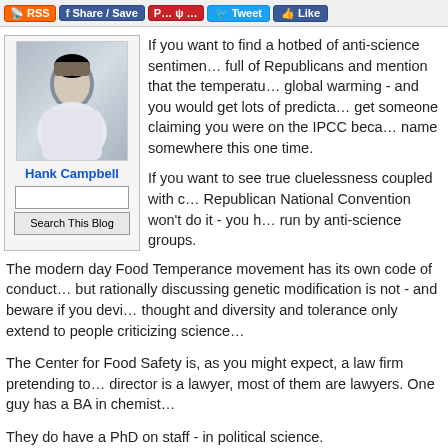RSS | Share / Save | Tweet | Like
[Figure (photo): Profile photo of Hank Campbell - a man in a white shirt]
Hank Campbell
Search This Blog
If you want to find a hotbed of anti-science sentiment, go to a room full of Republicans and mention that the temperature data shows global warming - and you would get lots of predictable responses. You'd get someone claiming you were on the IPCC because you had your name somewhere this one time.
If you want to see true cluelessness coupled with certainty, the Republican National Convention won't do it - you have to go to events run by anti-science groups.
The modern day Food Temperance movement has its own code of conduct but rationally discussing genetic modification is not - and beware if you deviate - thought and diversity and tolerance only extend to people criticizing science.
The Center for Food Safety is, as you might expect, a law firm pretending to be something else. The director is a lawyer, most of them are lawyers. One guy has a BA in chemistry.
They do have a PhD on staff - in political science.